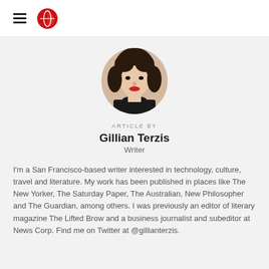[Figure (logo): Hamburger menu icon (three horizontal lines) and a red circular logo icon resembling a stylized letter Q or globe half]
[Figure (photo): Circular profile photo of Gillian Terzis, a woman with dark curly hair and red lipstick, wearing a black top, against a light background]
ARTICLE BY
Gillian Terzis
Writer
I'm a San Francisco-based writer interested in technology, culture, travel and literature. My work has been published in places like The New Yorker, The Saturday Paper, The Australian, New Philosopher and The Guardian, among others. I was previously an editor of literary magazine The Lifted Brow and a business journalist and subeditor at News Corp. Find me on Twitter at @gillianterzis.